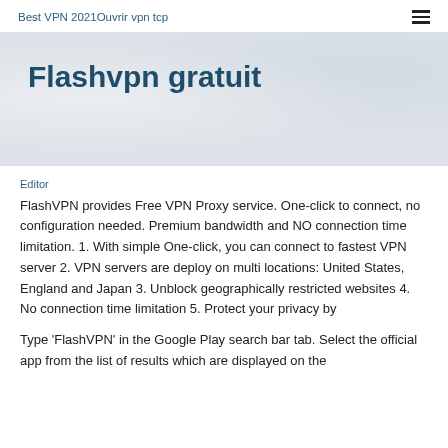Best VPN 2021Ouvrir vpn tcp
Flashvpn gratuit
Editor
FlashVPN provides Free VPN Proxy service. One-click to connect, no configuration needed. Premium bandwidth and NO connection time limitation. 1. With simple One-click, you can connect to fastest VPN server 2. VPN servers are deploy on multi locations: United States, England and Japan 3. Unblock geographically restricted websites 4. No connection time limitation 5. Protect your privacy by
Type 'FlashVPN' in the Google Play search bar tab. Select the official app from the list of results which are displayed on the